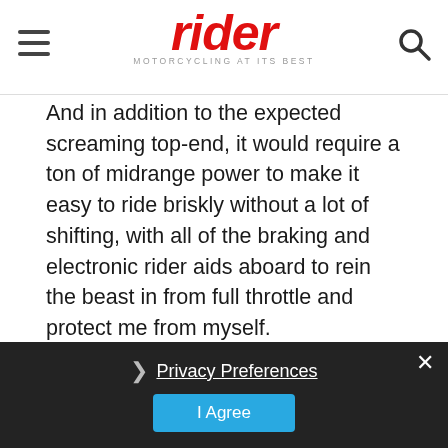rider — MOTORCYCLING AT ITS BEST
And in addition to the expected screaming top-end, it would require a ton of midrange power to make it easy to ride briskly without a lot of shifting, with all of the braking and electronic rider aids aboard to rein the beast in from full throttle and protect me from myself.
[Figure (photo): Motorcyclist riding on a road surrounded by green hillside vegetation, viewed from a slightly elevated angle. Rider wears a dark helmet.]
Privacy Preferences
I Agree